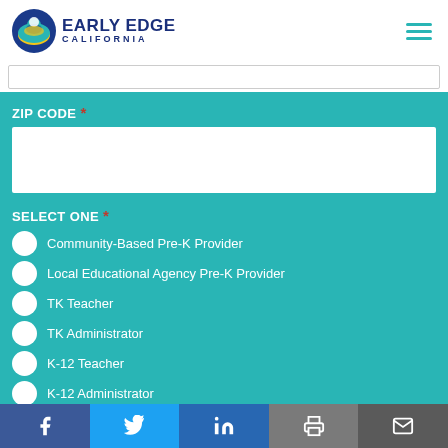[Figure (logo): Early Edge California logo with circular globe/person icon and text 'Early Edge California']
ZIP CODE *
SELECT ONE *
Community-Based Pre-K Provider
Local Educational Agency Pre-K Provider
TK Teacher
TK Administrator
K-12 Teacher
K-12 Administrator
Policymaker/Staff
Advocate
Facebook | Twitter | LinkedIn | Print | Email